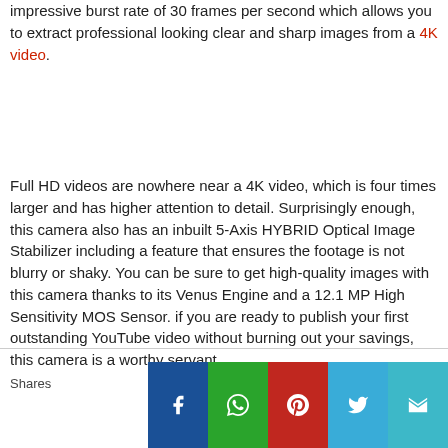impressive burst rate of 30 frames per second which allows you to extract professional looking clear and sharp images from a 4K video.
Full HD videos are nowhere near a 4K video, which is four times larger and has higher attention to detail. Surprisingly enough, this camera also has an inbuilt 5-Axis HYBRID Optical Image Stabilizer including a feature that ensures the footage is not blurry or shaky. You can be sure to get high-quality images with this camera thanks to its Venus Engine and a 12.1 MP High Sensitivity MOS Sensor. if you are ready to publish your first outstanding YouTube video without burning out your savings, this camera is a worthy servant.
[Figure (other): Social sharing bar with Facebook, WhatsApp, Pinterest, Twitter, and mail/crown icon buttons. A 'Shares' label appears on the left.]